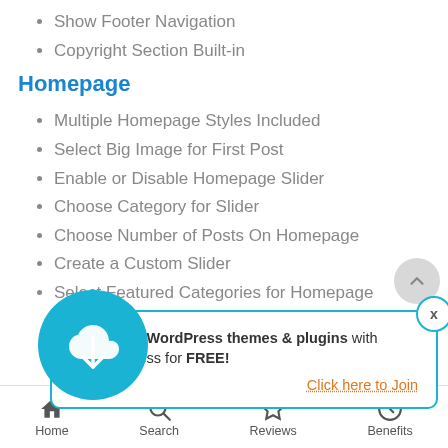Show Footer Navigation
Copyright Section Built-in
Homepage
Multiple Homepage Styles Included
Select Big Image for First Post
Enable or Disable Homepage Slider
Choose Category for Slider
Choose Number of Posts On Homepage
Create a Custom Slider
Select Featured Categories for Homepage
[Figure (infographic): Popup advertisement: Download 3 WordPress themes & plugins with lifetime access for FREE! Click here to Join. Overlaid with a circular teal cloud-download icon.]
Home   Search   Reviews   Benefits